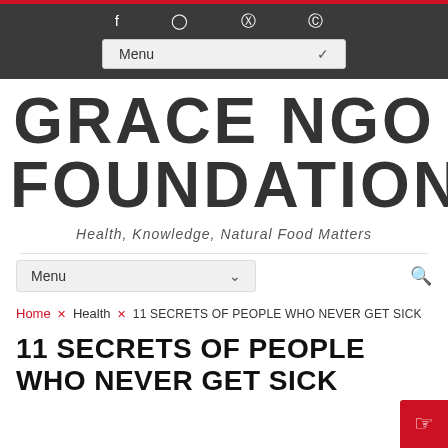f  ☆  ⊕  )))  Menu
GRACE NGO FOUNDATION
Health, Knowledge, Natural Food Matters
Menu
Home × Health × 11 SECRETS OF PEOPLE WHO NEVER GET SICK
11 SECRETS OF PEOPLE WHO NEVER GET SICK